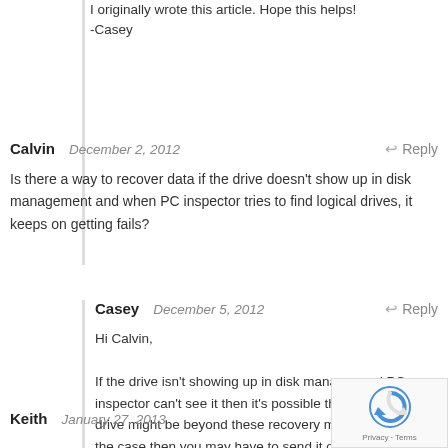I originally wrote this article. Hope this helps! -Casey
Calvin   December 2, 2012   Reply
Is there a way to recover data if the drive doesn't show up in disk management and when PC inspector tries to find logical drives, it keeps on getting fails?
Casey   December 5, 2012   Reply
Hi Calvin,

If the drive isn't showing up in disk manager and PC inspector can't see it then it's possible that the failed drive might be beyond these recovery methods. If this is the case then you may have to send it off to a data recovery service like Ontrack.
Keith   January 27, 2013   Reply